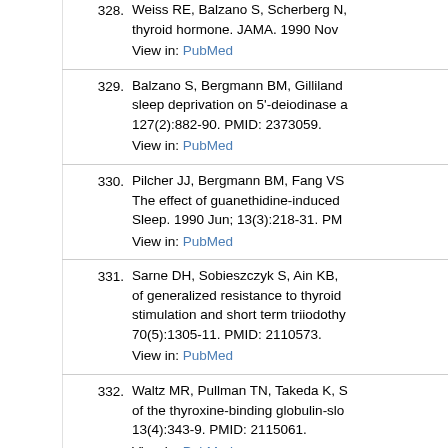328. Weiss RE, Balzano S, Scherberg N... thyroid hormone. JAMA. 1990 Nov... View in: PubMed
329. Balzano S, Bergmann BM, Gilliland... sleep deprivation on 5'-deiodinase a... 127(2):882-90. PMID: 2373059. View in: PubMed
330. Pilcher JJ, Bergmann BM, Fang VS... The effect of guanethidine-induced... Sleep. 1990 Jun; 13(3):218-31. PM... View in: PubMed
331. Sarne DH, Sobieszczyk S, Ain KB,... of generalized resistance to thyroid... stimulation and short term triiodothy... 70(5):1305-11. PMID: 2110573. View in: PubMed
332. Waltz MR, Pullman TN, Takeda K, S... of the thyroxine-binding globulin-slo... 13(4):343-9. PMID: 2115061. View in: PubMed
333. Mori Y, Takeda K, Charbonneau M,... binding globulin (TBG) is associate...